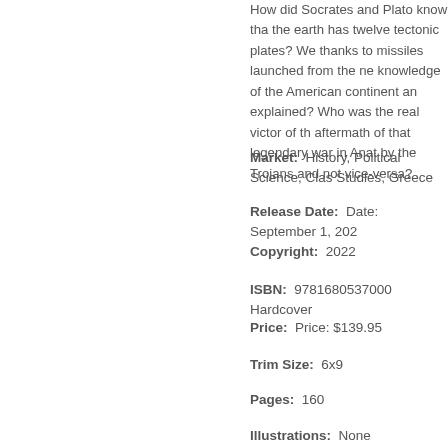How did Socrates and Plato know that the earth has twelve tectonic plates? We thanks to missiles launched from the ne knowledge of the American continent an explained? Who was the real victor of th aftermath of that legendary war in Anato by the Trojans and not vice-versa?
Market:  History, Political Science, Clas Studies, Greece
Release Date:  Date: September 1, 202
Copyright:  2022
ISBN:  9781680537000 Hardcover
Price:  Price: $139.95
Trim Size:  6x9
Pages:  160
Illustrations:  None
Yes
Publisher: